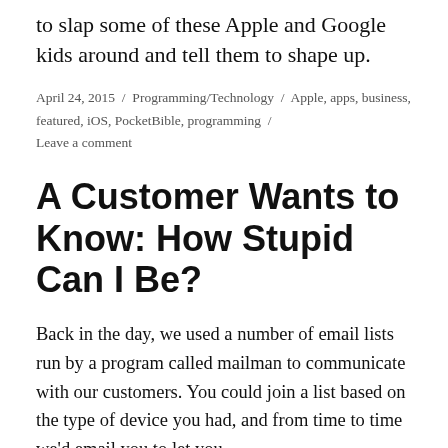to slap some of these Apple and Google kids around and tell them to shape up.
April 24, 2015 / Programming/Technology / Apple, apps, business, featured, iOS, PocketBible, programming / Leave a comment
A Customer Wants to Know: How Stupid Can I Be?
Back in the day, we used a number of email lists run by a program called mailman to communicate with our customers. You could join a list based on the type of device you had, and from time to time we'd email you to let you